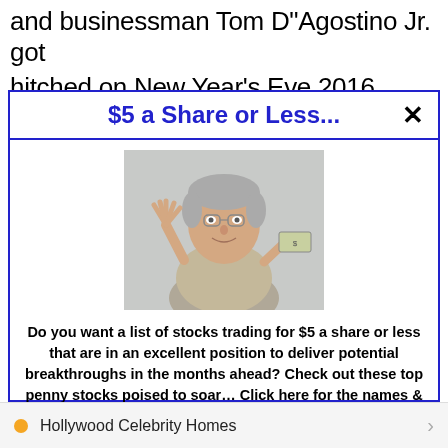and businessman Tom D"Agostino Jr. got
hitched on New Year's Eve 2016. After just
$5 a Share or Less...
[Figure (photo): Middle-aged man with gray hair raising one hand showing five fingers and holding a dollar bill in the other hand, wearing a casual shirt, against a light gray background.]
Do you want a list of stocks trading for $5 a share or less that are in an excellent position to deliver potential breakthroughs in the months ahead? Check out these top penny stocks poised to soar... Click here for the names & ticker symbols.
>>> See The List <<<
Hollywood Celebrity Homes